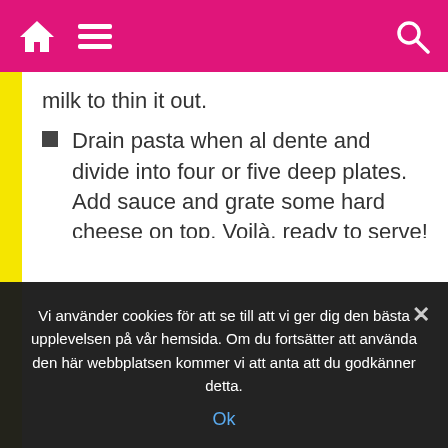Navigation bar with home, menu, and search icons
milk to thin it out.
Drain pasta when al dente and divide into four or five deep plates. Add sauce and grate some hard cheese on top. Voilà, ready to serve!
2. Couscous vegetable stir fry
An easy, effortless meal full of vegetables and flavor. You don't need a specific list of
Vi använder cookies för att se till att vi ger dig den bästa upplevelsen på vår hemsida. Om du fortsätter att använda den här webbplatsen kommer vi att anta att du godkänner detta.
Ok